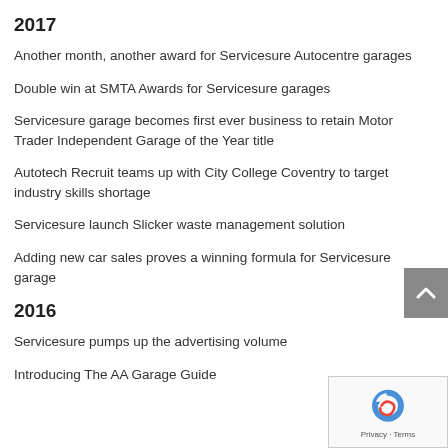2017
Another month, another award for Servicesure Autocentre garages
Double win at SMTA Awards for Servicesure garages
Servicesure garage becomes first ever business to retain Motor Trader Independent Garage of the Year title
Autotech Recruit teams up with City College Coventry to target industry skills shortage
Servicesure launch Slicker waste management solution
Adding new car sales proves a winning formula for Servicesure garage
2016
Servicesure pumps up the advertising volume
Introducing The AA Garage Guide